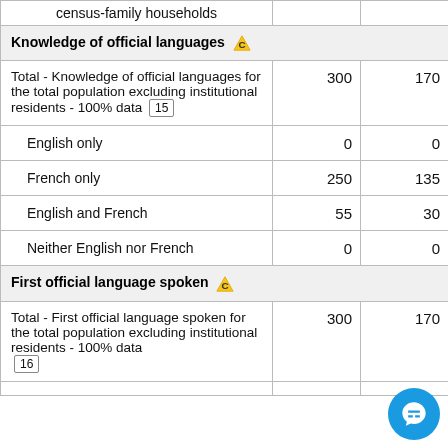|  |  |  |
| --- | --- | --- |
| census-family households |  |  |
| Knowledge of official languages ⚠ |  |  |
| Total - Knowledge of official languages for the total population excluding institutional residents - 100% data [15] | 300 | 170 |
| English only | 0 | 0 |
| French only | 250 | 135 |
| English and French | 55 | 30 |
| Neither English nor French | 0 | 0 |
| First official language spoken ⚠ |  |  |
| Total - First official language spoken for the total population excluding institutional residents - 100% data [16] | 300 | 170 |